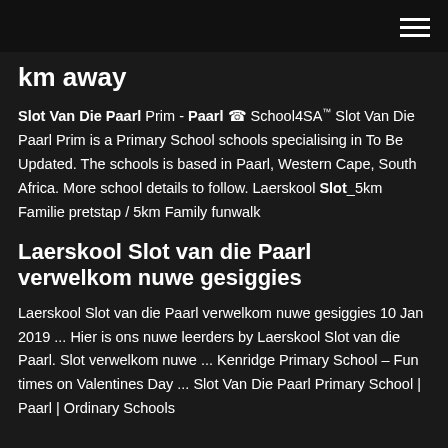≡ (navigation menu)
km away
Slot Van Die Paarl Prim - Paarl ☎ School4SA™ Slot Van Die Paarl Prim is a Primary School schools specialising in To Be Updated. The schools is based in Paarl, Western Cape, South Africa. More school details to follow. Laerskool Slot_5km Familie pretstap / 5km Family funwalk
Laerskool Slot van die Paarl verwelkom nuwe gesiggies
Laerskool Slot van die Paarl verwelkom nuwe gesiggies 10 Jan 2019 ... Hier is ons nuwe leerders by Laerskool Slot van die Paarl. Slot verwelkom nuwe ... Kenridge Primary School – Fun times on Valentines Day ... Slot Van Die Paarl Primary School | Paarl | Ordinary Schools